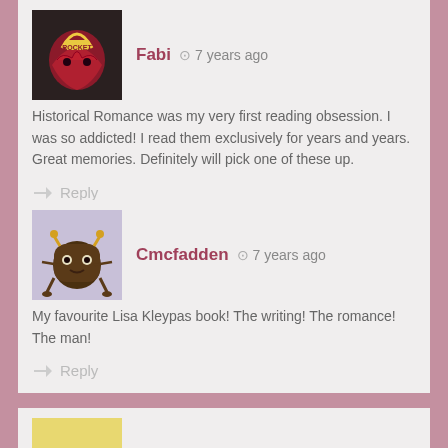[Figure (illustration): Avatar image for user Fabi - decorative heart with design]
Fabi  ⏱  7 years ago
Historical Romance was my very first reading obsession. I was so addicted! I read them exclusively for years and years. Great memories. Definitely will pick one of these up.
Reply
[Figure (illustration): Avatar image for user Cmcfadden - cartoon monster character]
Cmcfadden  ⏱  7 years ago
My favourite Lisa Kleypas book! The writing! The romance! The man!
Reply
[Figure (illustration): Avatar image for third user - yellow cartoon character, partially visible]